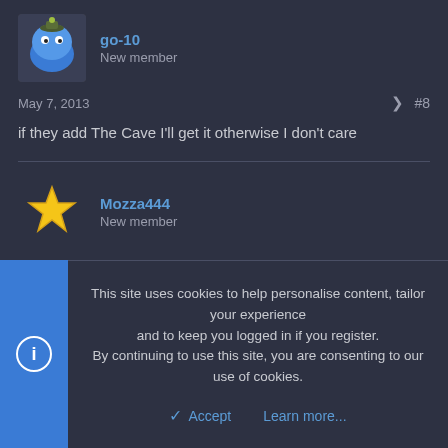go-10
New member
May 7, 2013
#8
if they add The Cave I'll get it otherwise I don't care
Mozza444
New member
May 7, 2013
#9
Had Steam for about 3 days now, got 6 games installed and spent
This site uses cookies to help personalise content, tailor your experience and to keep you logged in if you register.
By continuing to use this site, you are consenting to our use of cookies.
Accept
Learn more...